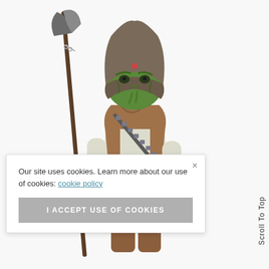[Figure (photo): A Star Wars action figure of an alien character with green skin, wearing a brown hooded cowl, tan/brown vest over white long-sleeve shirt, brown pants with white furry skirt piece. The figure holds a tall spear/axe weapon in its left hand and a blaster pistol in its right hand, with an ammunition bandolier across the chest.]
Our site uses cookies. Learn more about our use of cookies: cookie policy
I ACCEPT USE OF COOKIES
Scroll To Top